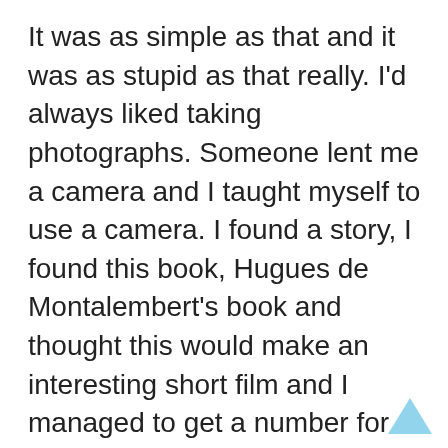It was as simple as that and it was as stupid as that really. I'd always liked taking photographs. Someone lent me a camera and I taught myself to use a camera. I found a story, I found this book, Hugues de Montalembert's book and thought this would make an interesting short film and I managed to get a number for him from a friend who's a journalist. I called him up in Denmark and I kind of lied on the phone and said I was a British filmmaker and I wanted to make an experimental documentary. His book had been published 20 years earlier so he hadn't had any calls